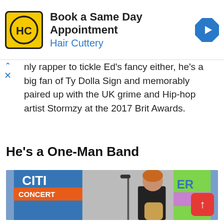[Figure (infographic): Hair Cuttery advertisement banner with logo, text 'Book a Same Day Appointment / Hair Cuttery', and a blue navigation arrow icon]
nly rapper to tickle Ed's fancy either, he's a big fan of Ty Dolla Sign and memorably paired up with the UK grime and Hip-hop artist Stormzy at the 2017 Brit Awards.
He's a One-Man Band
[Figure (photo): Ed Sheeran performing on stage at a Citi Concert Series event, playing guitar and singing into a microphone, wearing a black t-shirt, with colorful banners in the background]